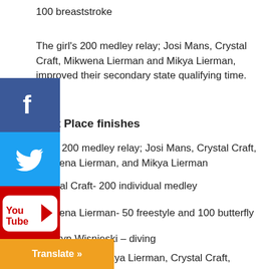100 breaststroke
The girl's 200 medley relay; Josi Mans, Crystal Craft, Mikwena Lierman and Mikya Lierman, improved their secondary state qualifying time.
First Place finishes
Girl's 200 medley relay; Josi Mans, Crystal Craft, Mikwena Lierman, and Mikya Lierman
Crystal Craft- 200 individual medley
Mikwena Lierman- 50 freestyle and 100 butterfly
Camryn Wisnieski – diving
le relay; Mikya Lierman, Crystal Craft, vena Lierman